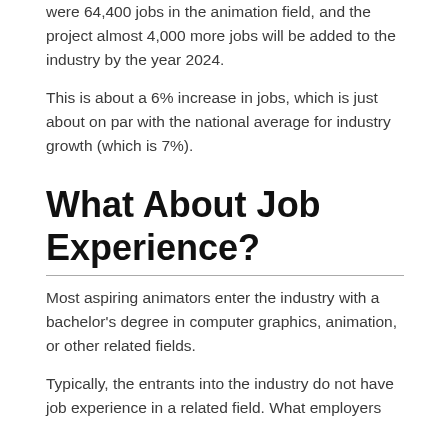were 64,400 jobs in the animation field, and the project almost 4,000 more jobs will be added to the industry by the year 2024.
This is about a 6% increase in jobs, which is just about on par with the national average for industry growth (which is 7%).
What About Job Experience?
Most aspiring animators enter the industry with a bachelor’s degree in computer graphics, animation, or other related fields.
Typically, the entrants into the industry do not have job experience in a related field. What employers